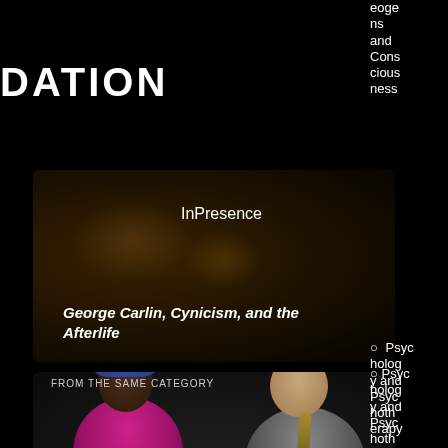DATION
eoge ns and Cons cious ness
[Figure (screenshot): Dark video thumbnail showing food/object in dark lighting with text overlay 'InPresence' and italic title 'George Carlin, Cynicism, and the Afterlife']
Psychology and Psychotherapy
Parapsychology and Psychological Research
FROM THE SAME CATEGORY
[Figure (screenshot): Video thumbnail showing two people seated: a woman in pink on the left and a man in gray suit on the right, against dark background. Title 'The Carnival of Life' and subtitle 'Luisah Teish']
The Carnival of Life
Luisah Teish